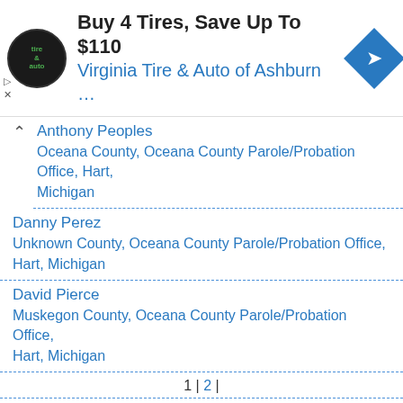[Figure (screenshot): Advertisement banner: Virginia Tire & Auto logo, text 'Buy 4 Tires, Save Up To $110', subtitle 'Virginia Tire & Auto of Ashburn …', blue diamond navigation icon]
Anthony Peoples
Oceana County, Oceana County Parole/Probation Office, Hart, Michigan
Danny Perez
Unknown County, Oceana County Parole/Probation Office, Hart, Michigan
David Pierce
Muskegon County, Oceana County Parole/Probation Office, Hart, Michigan
1 | 2 |
Search Offenders By Adjudicating County in Oceana County